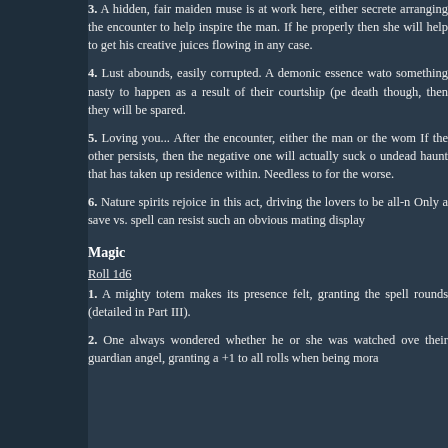3. A hidden, fair maiden muse is at work here, either secretly arranging the encounter to help inspire the man. If he properly then she will help to get his creative juices flowing in any case.
4. Lust abounds, easily corrupted. A demonic essence watches something nasty to happen as a result of their courtship (pe death though, then they will be spared.
5. Loving you... After the encounter, either the man or the woman. If the other persists, then the negative one will actually suck on undead haunt that has taken up residence within. Needless to for the worse.
6. Nature spirits rejoice in this act, driving the lovers to be all-n Only a save vs. spell can resist such an obvious mating display
Magic
Roll 1d6
1. A mighty totem makes its presence felt, granting the spell rounds (detailed in Part III).
2. One always wondered whether he or she was watched over their guardian angel, granting a +1 to all rolls when being mora